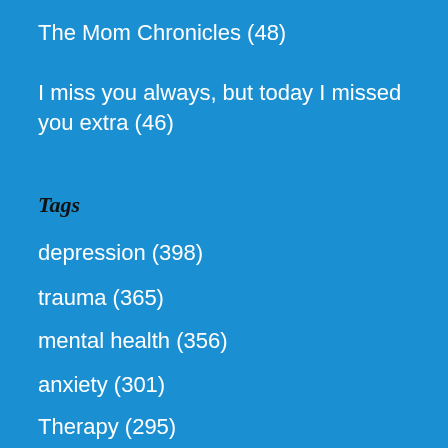The Mom Chronicles (48)
I miss you always, but today I missed you extra (46)
Tags
depression (398)
trauma (365)
mental health (356)
anxiety (301)
Therapy (295)
Year
2022 (193)